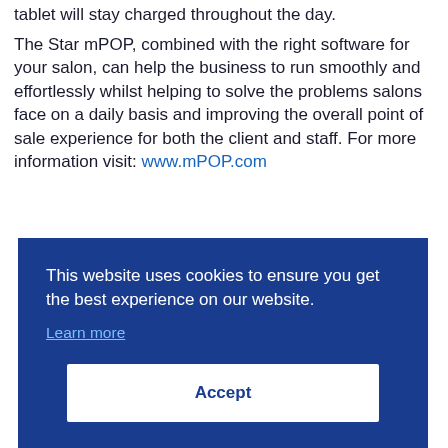tablet will stay charged throughout the day.
The Star mPOP, combined with the right software for your salon, can help the business to run smoothly and effortlessly whilst helping to solve the problems salons face on a daily basis and improving the overall point of sale experience for both the client and staff. For more information visit: www.mPOP.com
This website uses cookies to ensure you get the best experience on our website.
Learn more
Accept